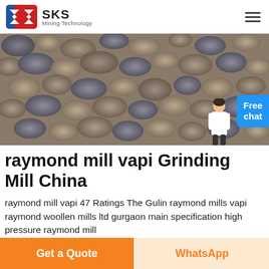SKS Mining Technology
[Figure (photo): Close-up photograph of crushed stones/gravel aggregate material, gray and brown rocky pieces]
raymond mill vapi Grinding Mill China
raymond mill vapi 47 Ratings The Gulin raymond mills vapi raymond woollen mills ltd gurgaon main specification high pressure raymond mill
More Info
Get a Quote
WhatsApp